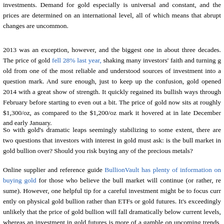investments. Demand for gold especially is universal and constant, and the prices are determined on an international level, all of which means that abrupt changes are uncommon.
2013 was an exception, however, and the biggest one in about three decades. The price of gold fell 28% last year, shaking many investors' faith and turning gold from one of the most reliable and understood sources of investment into a question mark. And sure enough, just to keep up the confusion, gold opened 2014 with a great show of strength. It quickly regained its bullish ways through February before starting to even out a bit. The price of gold now sits at roughly $1,300/oz, as compared to the $1,200/oz mark it hovered at in late December and early January.
So with gold's dramatic leaps seemingly stabilizing to some extent, there are two questions that investors with interest in gold must ask: is the bull market in gold bullion over? Should you risk buying any of the precious metals?
Online supplier and reference guide BullionVault has plenty of information on buying gold for those who believe the bull market will continue (or rather, resume). However, one helpful tip for a careful investment might be to focus currently on physical gold bullion rather than ETFs or gold futures. It's exceedingly unlikely that the price of gold bullion will fall dramatically below current levels, whereas an investment in gold futures is more of a gamble on upcoming trends, and thus far riskier. But before you decide whether or not you are interested in investing (let alone how you're going to do it), we'll turn back to the first question: is the bull market over?
The only proper way to address this question would be to look at which factors contributed most significantly to the early 2014 bull market. For the